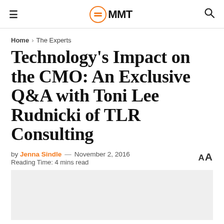≡ MMT 🔍
Home > The Experts
Technology's Impact on the CMO: An Exclusive Q&A with Toni Lee Rudnicki of TLR Consulting
by Jenna Sindle — November 2, 2016
Reading Time: 4 mins read
[Figure (photo): Light gray image placeholder area at the bottom of the page]